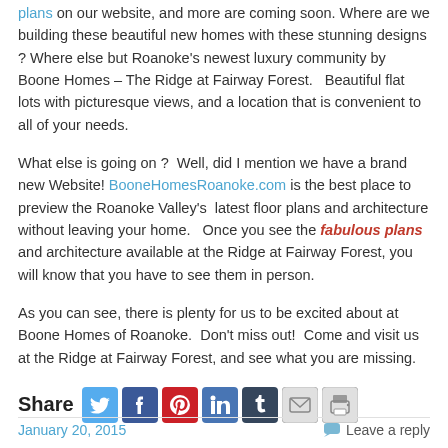plans on our website, and more are coming soon. Where are we building these beautiful new homes with these stunning designs? Where else but Roanoke's newest luxury community by Boone Homes – The Ridge at Fairway Forest. Beautiful flat lots with picturesque views, and a location that is convenient to all of your needs.
What else is going on? Well, did I mention we have a brand new Website! BooneHomesRoanoke.com is the best place to preview the Roanoke Valley's latest floor plans and architecture without leaving your home. Once you see the fabulous plans and architecture available at the Ridge at Fairway Forest, you will know that you have to see them in person.
As you can see, there is plenty for us to be excited about at Boone Homes of Roanoke. Don't miss out! Come and visit us at the Ridge at Fairway Forest, and see what you are missing.
[Figure (infographic): Share bar with social media icons: Twitter, Facebook, Pinterest, LinkedIn, Tumblr, Email, Print]
January 20, 2015   Leave a reply